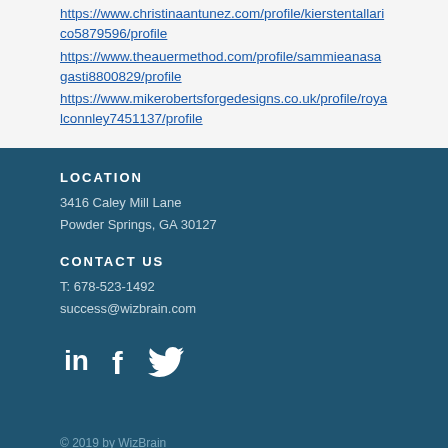https://www.christinaantunez.com/profile/kierstentallarico5879596/profile
https://www.theauermethod.com/profile/sammieanasagasti8800829/profile
https://www.mikerobertsforgedesigns.co.uk/profile/royalconnley7451137/profile
LOCATION
3416 Caley Mill Lane
Powder Springs, GA 30127
CONTACT US
T: 678-523-1492
success@wizbrain.com
[Figure (infographic): Social media icons: LinkedIn, Facebook, Twitter in white]
© 2019 by WizBrain